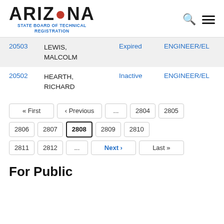ARIZONA STATE BOARD OF TECHNICAL REGISTRATION
| ID | Name | Status | Type |
| --- | --- | --- | --- |
| 20503 | LEWIS, MALCOLM | Expired | ENGINEER/EL |
| 20502 | HEARTH, RICHARD | Inactive | ENGINEER/EL |
« First ‹ Previous ... 2804 2805 2806 2807 2808 2809 2810 2811 2812 ... Next › Last »
For Public